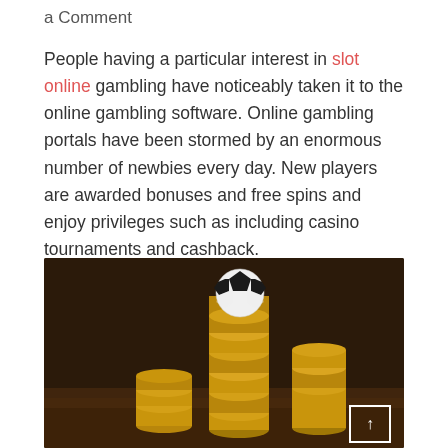a Comment
People having a particular interest in slot online gambling have noticeably taken it to the online gambling software. Online gambling portals have been stormed by an enormous number of newbies every day. New players are awarded bonuses and free spins and enjoy privileges such as including casino tournaments and cashback.
[Figure (photo): A soccer ball balanced on top of a tall stack of gold coins, with more coin stacks in the background, on a dark wooden surface. A white square scroll-to-top button is visible in the bottom right corner.]